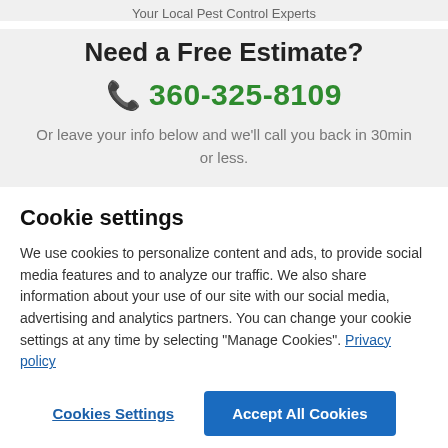Your Local Pest Control Experts
Need a Free Estimate?
📞 360-325-8109
Or leave your info below and we'll call you back in 30min or less.
Cookie settings
We use cookies to personalize content and ads, to provide social media features and to analyze our traffic. We also share information about your use of our site with our social media, advertising and analytics partners. You can change your cookie settings at any time by selecting "Manage Cookies". Privacy policy
Cookies Settings
Accept All Cookies